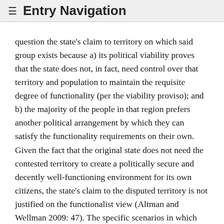≡ Entry Navigation
question the state's claim to territory on which said group exists because a) its political viability proves that the state does not, in fact, need control over that territory and population to maintain the requisite degree of functionality (per the viability proviso); and b) the majority of the people in that region prefers another political arrangement by which they can satisfy the functionality requirements on their own. Given the fact that the original state does not need the contested territory to create a politically secure and decently well-functioning environment for its own citizens, the state's claim to the disputed territory is not justified on the functionalist view (Altman and Wellman 2009: 47). The specific scenarios in which this plays out will depend on how we construe political viability, but the overarching argument from functionality remains the same: if the disputed territory is not necessary for the proper functioning of the state, then the state's claim to that territory and those who live on it is (at the very least) vulnerable to being overridden by the self-determination of…